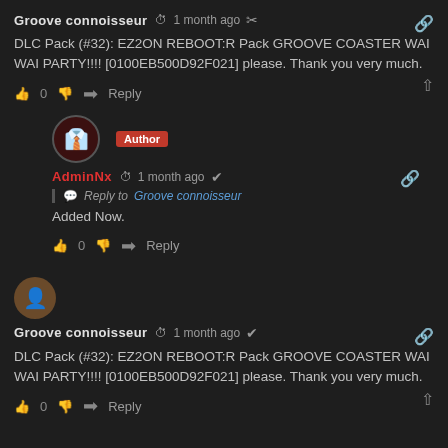Groove connoisseur · 1 month ago
DLC Pack (#32): EZ2ON REBOOT:R Pack GROOVE COASTER WAI WAI PARTY!!!! [0100EB500D92F021] please. Thank you very much.
👍 0 👎 ➜ Reply
AdminNx (Author) · 1 month ago · Reply to Groove connoisseur
Added Now.
👍 0 👎 ➜ Reply
Groove connoisseur · 1 month ago
DLC Pack (#32): EZ2ON REBOOT:R Pack GROOVE COASTER WAI WAI PARTY!!!! [0100EB500D92F021] please. Thank you very much.
👍 0 👎 ➜ Reply